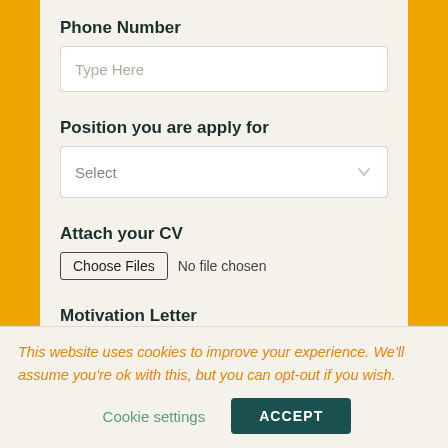Phone Number
Type Here
Position you are apply for
Select
Attach your CV
Choose Files  No file chosen
Motivation Letter
This website uses cookies to improve your experience. We'll assume you're ok with this, but you can opt-out if you wish.
Cookie settings
ACCEPT